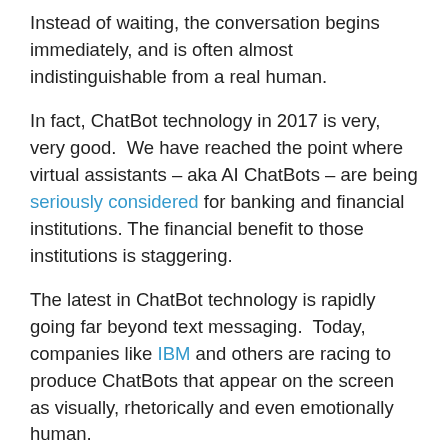Instead of waiting, the conversation begins immediately, and is often almost indistinguishable from a real human.
In fact, ChatBot technology in 2017 is very, very good.  We have reached the point where virtual assistants – aka AI ChatBots – are being seriously considered for banking and financial institutions. The financial benefit to those institutions is staggering.
The latest in ChatBot technology is rapidly going far beyond text messaging.  Today, companies like IBM and others are racing to produce ChatBots that appear on the screen as visually, rhetorically and even emotionally human.
This new breed of ChatBot can not only carry on a conversation with human like interaction, but